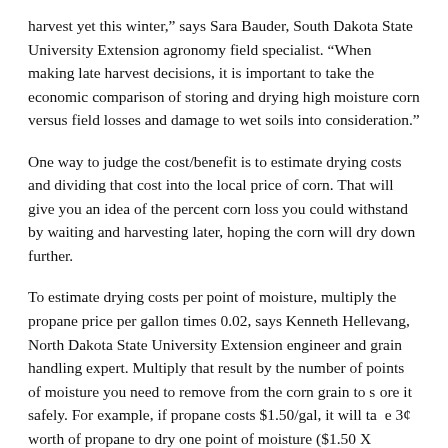harvest yet this winter," says Sara Bauder, South Dakota State University Extension agronomy field specialist. "When making late harvest decisions, it is important to take the economic comparison of storing and drying high moisture corn versus field losses and damage to wet soils into consideration."
One way to judge the cost/benefit is to estimate drying costs and dividing that cost into the local price of corn. That will give you an idea of the percent corn loss you could withstand by waiting and harvesting later, hoping the corn will dry down further.
To estimate drying costs per point of moisture, multiply the propane price per gallon times 0.02, says Kenneth Hellevang, North Dakota State University Extension engineer and grain handling expert. Multiply that result by the number of points of moisture you need to remove from the corn grain to store it safely. For example, if propane costs $1.50/gal, it will take 3¢ worth of propane to dry one point of moisture ($1.50 X